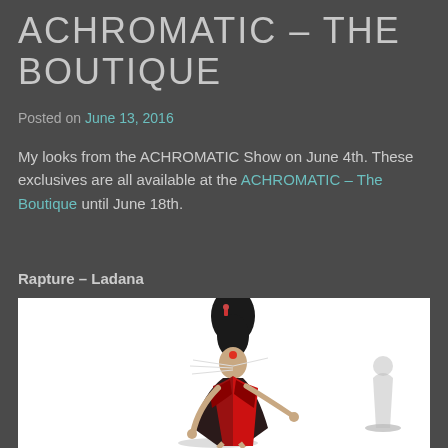ACHROMATIC – THE BOUTIQUE
Posted on June 13, 2016
My looks from the ACHROMATIC Show on June 4th. These exclusives are all available at the ACHROMATIC – The Boutique until June 18th.
Rapture – Ladana
[Figure (photo): A 3D avatar/virtual model wearing a dramatic red and black dress with a tall black updo hairstyle, a red bindi, and whisker-like face adornments. The figure poses on a white background with a shadow visible.]